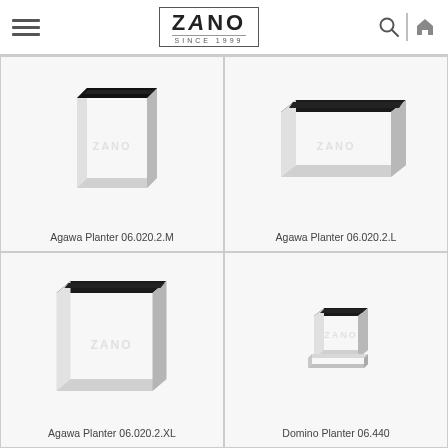ZANO SINCE 1999
[Figure (photo): Agawa Planter 06.020.2.M — a tall square steel planter with brushed silver finish and black interior]
Agawa Planter 06.020.2.M
[Figure (photo): Agawa Planter 06.020.2.L — a wide low square steel planter with brushed silver finish and black interior]
Agawa Planter 06.020.2.L
[Figure (photo): Agawa Planter 06.020.2.XL — a large cube steel planter with brushed silver finish and black interior]
Agawa Planter 06.020.2.XL
[Figure (photo): Domino Planter 06.440 — a small compact square steel planter with brushed silver finish and black interior]
Domino Planter 06.440